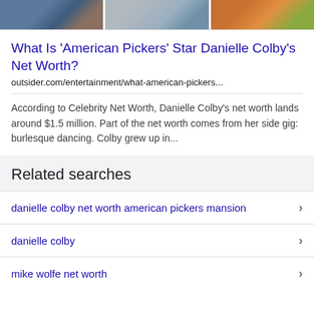[Figure (photo): Strip of three thumbnail photos at the top of the page]
What Is 'American Pickers' Star Danielle Colby's Net Worth?
outsider.com/entertainment/what-american-pickers...
According to Celebrity Net Worth, Danielle Colby's net worth lands around $1.5 million. Part of the net worth comes from her side gig: burlesque dancing. Colby grew up in...
Related searches
danielle colby net worth american pickers mansion
danielle colby
mike wolfe net worth